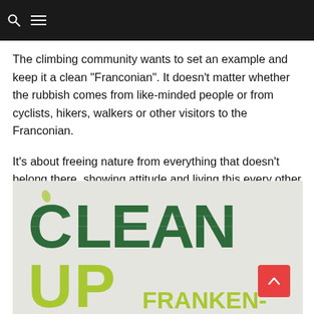[search icon] [menu icon]
The climbing community wants to set an example and keep it a clean "Franconian". It doesn't matter whether the rubbish comes from like-minded people or from cyclists, hikers, walkers or other visitors to the Franconian.
It's about freeing nature from everything that doesn't belong there, showing attitude and living this every other day. So that we can all enjoy our precious time in nature.
[Figure (illustration): A graphic/poster with large distressed letterpress-style text reading 'CLEAN UP FRANKEN-' in green and yellow-green colors on a light grey background, promoting a clean-up campaign in the Franconian region. A red back-to-top button is overlaid in the lower right corner.]